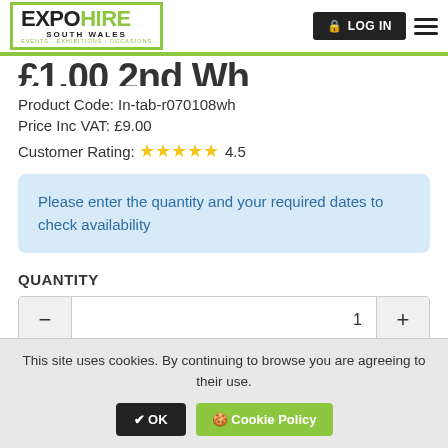EXPO HIRE SOUTH WALES - EVENTS · EXHIBITIONS · OCCASIONS
£1.00 2nd Wh
Product Code: In-tab-r070108wh
Price Inc VAT: £9.00
Customer Rating: ★★★★★ 4.5
Please enter the quantity and your required dates to check availability
QUANTITY
– 1 +
This site uses cookies. By continuing to browse you are agreeing to their use. ✔ OK 🍪 Cookie Policy